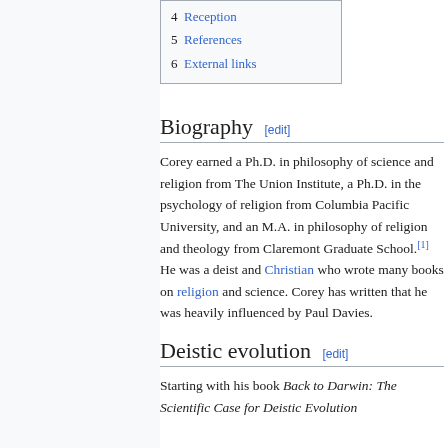4 Reception
5 References
6 External links
Biography [edit]
Corey earned a Ph.D. in philosophy of science and religion from The Union Institute, a Ph.D. in the psychology of religion from Columbia Pacific University, and an M.A. in philosophy of religion and theology from Claremont Graduate School.[1] He was a deist and Christian who wrote many books on religion and science. Corey has written that he was heavily influenced by Paul Davies.
Deistic evolution [edit]
Starting with his book Back to Darwin: The Scientific Case for Deistic Evolution